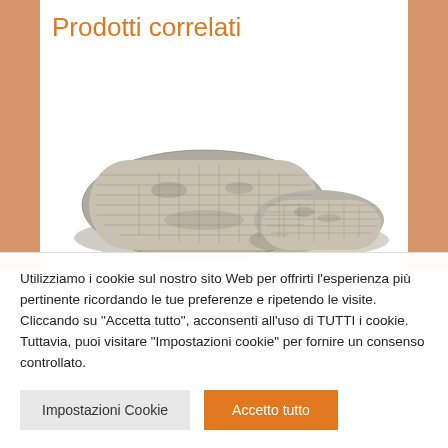Prodotti correlati
[Figure (photo): Two stone or textured furniture pieces (ottomans or stools) with grey/black mottled pattern, photographed against a white background. Two orange vertical bars flank the sides of the image area.]
Utilizziamo i cookie sul nostro sito Web per offrirti l'esperienza più pertinente ricordando le tue preferenze e ripetendo le visite. Cliccando su "Accetta tutto", acconsenti all'uso di TUTTI i cookie. Tuttavia, puoi visitare "Impostazioni cookie" per fornire un consenso controllato.
Impostazioni Cookie
Accetto tutto